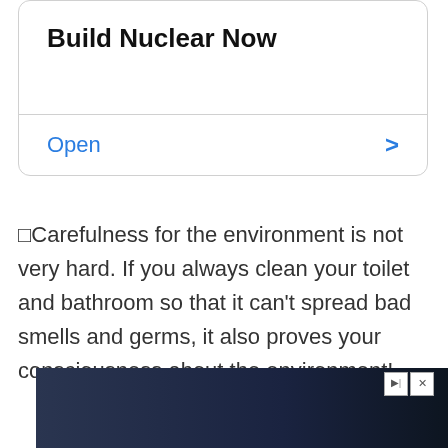Build Nuclear Now
Open
□Carefulness for the environment is not very hard. If you always clean your toilet and bathroom so that it can’t spread bad smells and germs, it also proves your consciousness about the environment!
[Figure (screenshot): Advertisement banner: Download Helbiz and ride, showing a bicycle handlebar in the background]